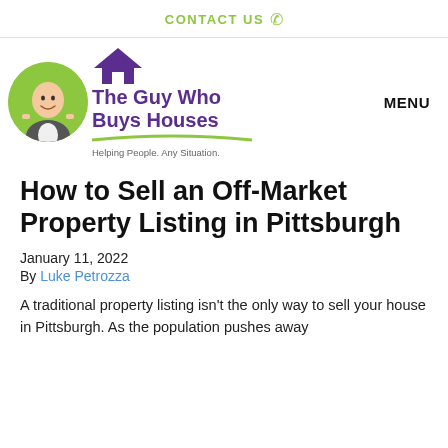CONTACT US
[Figure (logo): The Guy Who Buys Houses logo with cartoon avatar in green circle and purple house icon, tagline: Helping People. Any Situation.]
How to Sell an Off-Market Property Listing in Pittsburgh
January 11, 2022
By Luke Petrozza
A traditional property listing isn't the only way to sell your house in Pittsburgh. As the population pushes away